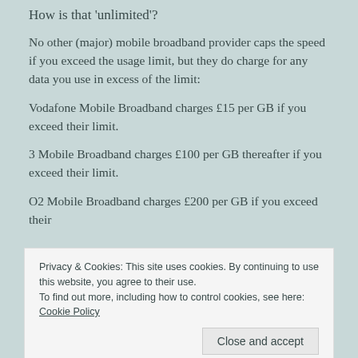How is that ‘unlimited’?
No other (major) mobile broadband provider caps the speed if you exceed the usage limit, but they do charge for any data you use in excess of the limit:
Vodafone Mobile Broadband charges £15 per GB if you exceed their limit.
3 Mobile Broadband charges £100 per GB thereafter if you exceed their limit.
O2 Mobile Broadband charges £200 per GB if you exceed their
Privacy & Cookies: This site uses cookies. By continuing to use this website, you agree to their use.
To find out more, including how to control cookies, see here: Cookie Policy
Still want to buy mobile broadband? If so, check the ads to the